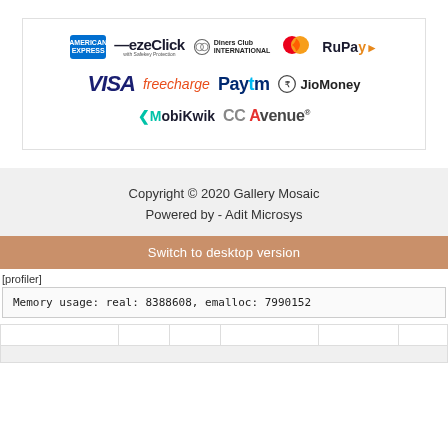[Figure (logo): Payment method logos: American Express, ezeClick with Safekey Protection, Diners Club International, Mastercard, RuPay, VISA, freecharge, Paytm, JioMoney, MobiKwik, CCAvenue]
Copyright © 2020 Gallery Mosaic
Powered by - Adit Microsys
Switch to desktop version
[profiler]
Memory usage: real: 8388608, emalloc: 7990152